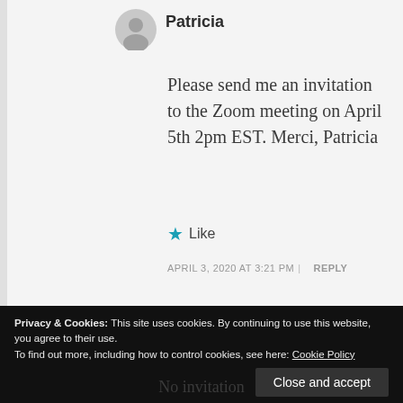Patricia
Please send me an invitation to the Zoom meeting on April 5th 2pm EST. Merci, Patricia
★ Like
APRIL 3, 2020 AT 3:21 PM | REPLY
Privacy & Cookies: This site uses cookies. By continuing to use this website, you agree to their use. To find out more, including how to control cookies, see here: Cookie Policy
Close and accept
No invitation